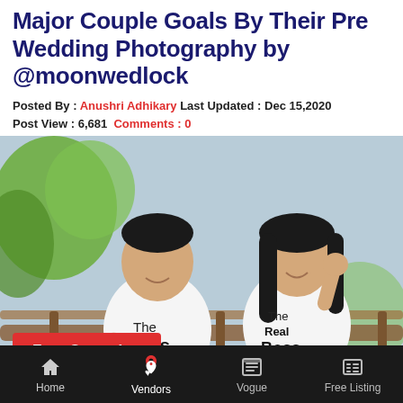Major Couple Goals By Their Pre Wedding Photography by @moonwedlock
Posted By : Anushri Adhikary Last Updated : Dec 15,2020
Post View : 6,681 Comments : 0
[Figure (photo): A couple sitting on a wooden fence. The man wears a white T-shirt reading 'The Boss' and the woman wears a white T-shirt reading 'The Real Boss'. Both are smiling, with a green and sky background. A red 'Free Quotation' button overlay appears at the bottom left.]
Home | Vendors | Vogue | Free Listing